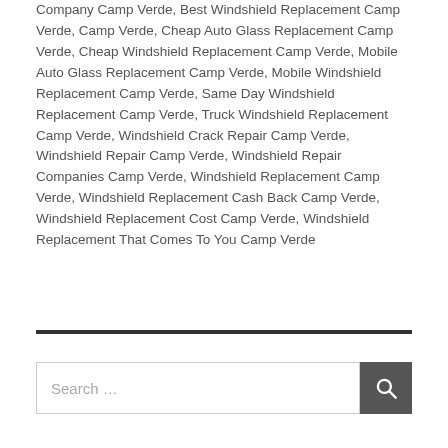Company Camp Verde, Best Windshield Replacement Camp Verde, Camp Verde, Cheap Auto Glass Replacement Camp Verde, Cheap Windshield Replacement Camp Verde, Mobile Auto Glass Replacement Camp Verde, Mobile Windshield Replacement Camp Verde, Same Day Windshield Replacement Camp Verde, Truck Windshield Replacement Camp Verde, Windshield Crack Repair Camp Verde, Windshield Repair Camp Verde, Windshield Repair Companies Camp Verde, Windshield Replacement Camp Verde, Windshield Replacement Cash Back Camp Verde, Windshield Replacement Cost Camp Verde, Windshield Replacement That Comes To You Camp Verde
[Figure (other): Horizontal rule divider]
[Figure (other): Search box with text 'Search ...' and a search button with magnifying glass icon]